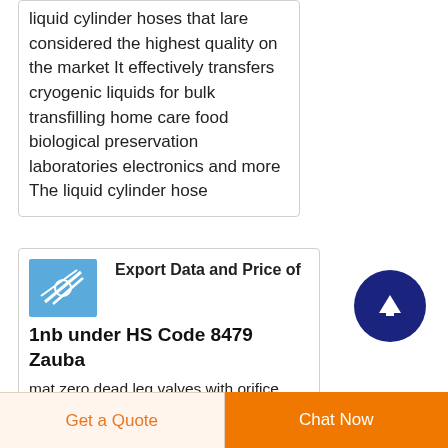liquid cylinder hoses that lare considered the highest quality on the market It effectively transfers cryogenic liquids for bulk transfilling home care food biological preservation laboratories electronics and more The liquid cylinder hose
[Figure (illustration): Small blue thumbnail image showing what appears to be hose/tube fittings or similar industrial equipment]
Export Data and Price of 1nb under HS Code 8479 Zauba
mat zero dead leg valves with orifice plate and hose nipple 1 od tube tube fittings machines
Get a Quote
Chat Now